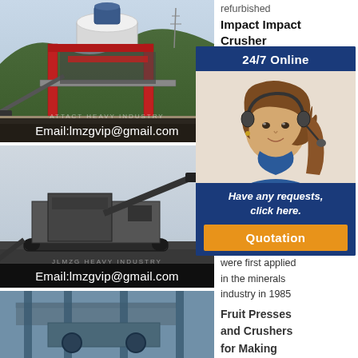[Figure (photo): Industrial crusher / mining equipment on a hillside with red structure and conveyor belts, with 'Email:lmzgvip@gmail.com' overlay]
[Figure (photo): Mobile crushing and screening plant on industrial ground, with 'Email:lmzgvip@gmail.com' overlay]
[Figure (photo): Blue industrial machinery/equipment partially visible]
[Figure (infographic): 24/7 Online chat widget with agent photo, 'Have any requests, click here.' text and orange Quotation button]
refurbished
Impact Impact Crusher Manufacturer
Ra
Hi Su Mo Co Be
Hi
G
91
20
Hi
grinding rolls were first applied in the minerals industry in 1985
Fruit Presses and Crushers for Making